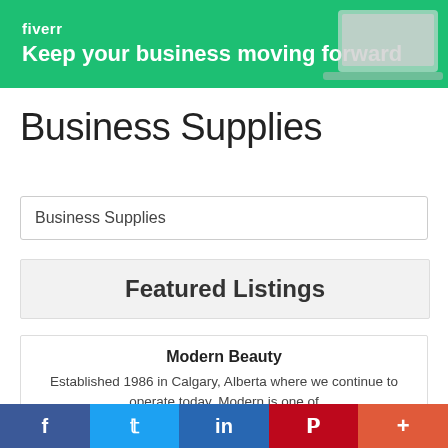[Figure (infographic): Fiverr banner ad with green background showing logo, tagline 'Keep your business moving forward', and laptop image on right]
Business Supplies
Business Supplies
Featured Listings
Modern Beauty
Established 1986 in Calgary, Alberta where we continue to operate today, Modern is one of
f  t  in  P  +